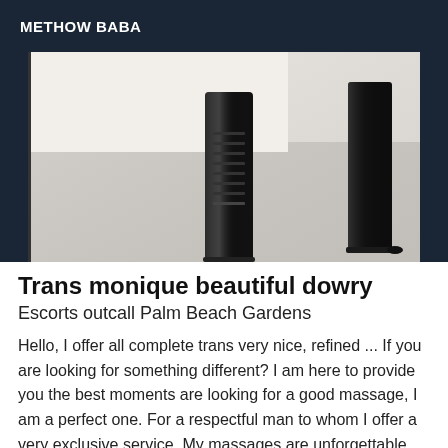METHOW BABA
[Figure (photo): Close-up photo of legs wearing tall black boots/knee-high boots on a light-colored floor or surface.]
Trans monique beautiful dowry
Escorts outcall Palm Beach Gardens
Hello, I offer all complete trans very nice, refined ... If you are looking for something different? I am here to provide you the best moments are looking for a good massage, I am a perfect one. For a respectful man to whom I offer a very exclusive service. My massages are unforgettable and my company really, you will discover